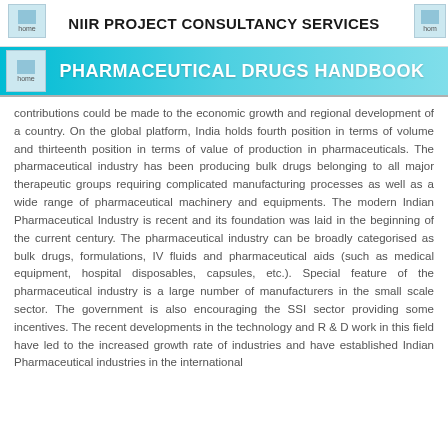NIIR PROJECT CONSULTANCY SERVICES
PHARMACEUTICAL DRUGS HANDBOOK
contributions could be made to the economic growth and regional development of a country. On the global platform, India holds fourth position in terms of volume and thirteenth position in terms of value of production in pharmaceuticals. The pharmaceutical industry has been producing bulk drugs belonging to all major therapeutic groups requiring complicated manufacturing processes as well as a wide range of pharmaceutical machinery and equipments. The modern Indian Pharmaceutical Industry is recent and its foundation was laid in the beginning of the current century. The pharmaceutical industry can be broadly categorised as bulk drugs, formulations, IV fluids and pharmaceutical aids (such as medical equipment, hospital disposables, capsules, etc.). Special feature of the pharmaceutical industry is a large number of manufacturers in the small scale sector. The government is also encouraging the SSI sector providing some incentives. The recent developments in the technology and R & D work in this field have led to the increased growth rate of industries and have established Indian Pharmaceutical industries in the international